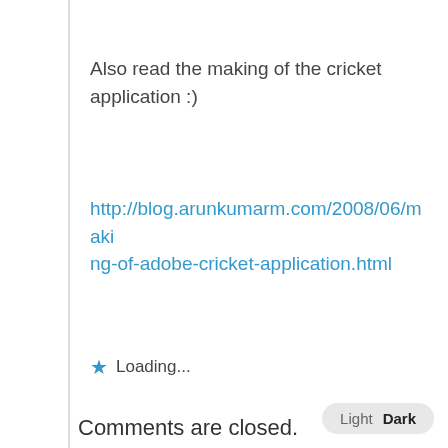Also read the making of the cricket application :)
http://blog.arunkumarm.com/2008/06/making-of-adobe-cricket-application.html
★ Loading...
Comments are closed.
About
My name is Swaroop. I currently work as a Staff Engineer in the Machine Learning Platform team at